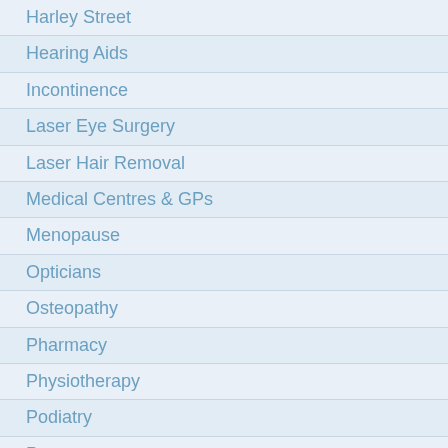Harley Street
Hearing Aids
Incontinence
Laser Eye Surgery
Laser Hair Removal
Medical Centres & GPs
Menopause
Opticians
Osteopathy
Pharmacy
Physiotherapy
Podiatry
Pregnancy
Private Blood Tests
Private Health Insurance
Sleep Disorders